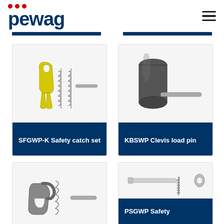pewag
[Figure (photo): SFGWP-K Safety catch set - yellow forked catch piece with two coil springs and a pin]
SFGWP-K Safety catch set
[Figure (photo): KBSWP Clevis load pin - cylindrical dark metal pin with a flat retaining pin]
KBSWP Clevis load pin
[Figure (photo): Safety catch set - metal hook latch with coil spring and pin]
[Figure (photo): PSGWP Safety - bolt with spring and washer]
PSGWP Safety